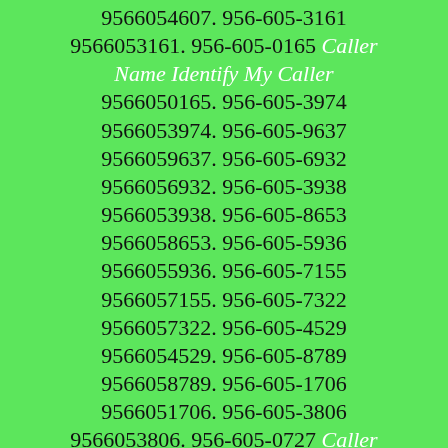9566054607. 956-605-3161 9566053161. 956-605-0165 Caller Name Identify My Caller 9566050165. 956-605-3974 9566053974. 956-605-9637 9566059637. 956-605-6932 9566056932. 956-605-3938 9566053938. 956-605-8653 9566058653. 956-605-5936 9566055936. 956-605-7155 9566057155. 956-605-7322 9566057322. 956-605-4529 9566054529. 956-605-8789 9566058789. 956-605-1706 9566051706. 956-605-3806 9566053806. 956-605-0727 Caller Name Identify My Caller 9566050727. 956-605-3225 9566053225. 956-605-1856 9566051856. 956-605-0657 Caller Name Identify My Caller 9566050657. 956-605-6789 9566056789. 956-605-8326 9566058326. 956-605-0576 Caller Name Identify My Caller 9566050576. 956-605-1331 9566051331. 956-605-6328 9566056328. 956-605-0686 Caller Name Identify My Caller 9566050686. 956-